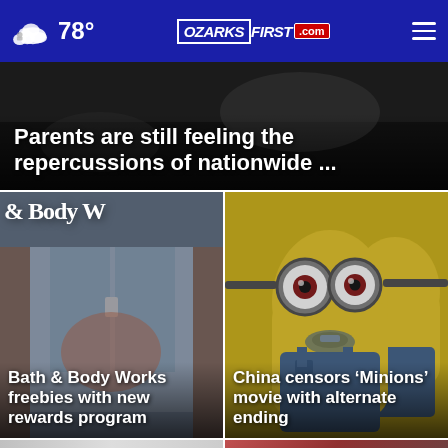78° OzarksFirst.com
Parents are still feeling the repercussions of nationwide ...
[Figure (photo): Bath & Body Works storefront sign]
Bath & Body Works freebies with new rewards program
[Figure (photo): Minions movie characters]
China censors ‘Minions’ movie with alternate ending
[Figure (photo): Bottom left news thumbnail with video icon]
[Figure (photo): Bottom right news thumbnail showing a baseball player]